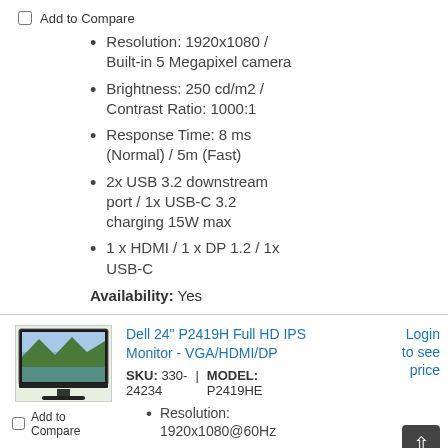Add to Compare
Resolution: 1920x1080 / Built-in 5 Megapixel camera
Brightness: 250 cd/m2 / Contrast Ratio: 1000:1
Response Time: 8 ms (Normal) / 5m (Fast)
2x USB 3.2 downstream port / 1x USB-C 3.2 charging 15W max
1 x HDMI / 1 x DP 1.2 / 1x USB-C
Availability: Yes
[Figure (photo): Dell 24 inch P2419H monitor on stand]
Add to Compare
Dell 24" P2419H Full HD IPS Monitor - VGA/HDMI/DP
SKU: 330-24234 | MODEL: P2419HE
Login to see price
Resolution: 1920x1080@60Hz
Brightness: 250 cd/m2 /